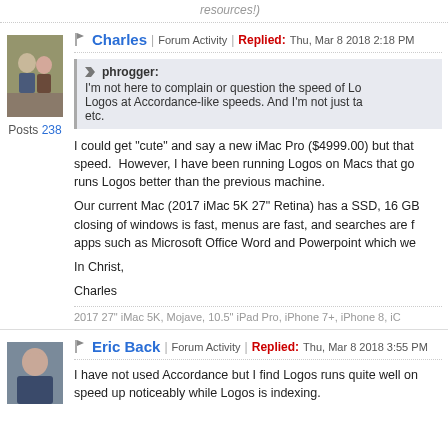resources!)
Charles | Forum Activity | Replied: Thu, Mar 8 2018 2:18 PM
phrogger: I'm not here to complain or question the speed of Logos at Accordance-like speeds. And I'm not just tal etc.
I could get "cute" and say a new iMac Pro ($4999.00) but that speed. However, I have been running Logos on Macs that go runs Logos better than the previous machine.
Our current Mac (2017 iMac 5K 27" Retina) has a SSD, 16 GB closing of windows is fast, menus are fast, and searches are f apps such as Microsoft Office Word and Powerpoint which we
In Christ,
Charles
2017 27" iMac 5K, Mojave, 10.5" iPad Pro, iPhone 7+, iPhone 8, iC
Eric Back | Forum Activity | Replied: Thu, Mar 8 2018 3:55 PM
I have not used Accordance but I find Logos runs quite well on speed up noticeably while Logos is indexing.